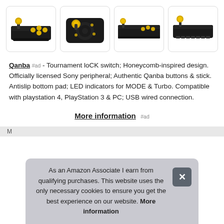[Figure (photo): Four product images of Qanba arcade fight sticks with black body and gold/yellow joystick ball, shown from different angles in rounded rectangle frames]
Qanba #ad - Tournament loCK switch; Honeycomb-inspired design. Officially licensed Sony peripheral; Authentic Qanba buttons & stick. Antislip bottom pad; LED indicators for MODE & Turbo. Compatible with playstation 4, PlayStation 3 & PC; USB wired connection.
More information #ad
As an Amazon Associate I earn from qualifying purchases. This website uses the only necessary cookies to ensure you get the best experience on our website. More information